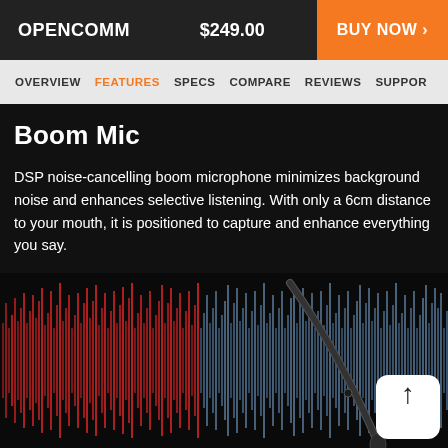OPENCOMM   $249.00   BUY NOW >
OVERVIEW  FEATURES  SPECS  COMPARE  REVIEWS  SUPPORT
Boom Mic
DSP noise-cancelling boom microphone minimizes background noise and enhances selective listening. With only a 6cm distance to your mouth, it is positioned to capture and enhance everything you say.
[Figure (photo): A dark background with red and blue audio waveform visualizations and a boom microphone arm extending diagonally from bottom-left to upper-right. A back-to-top arrow button appears in the lower right corner.]